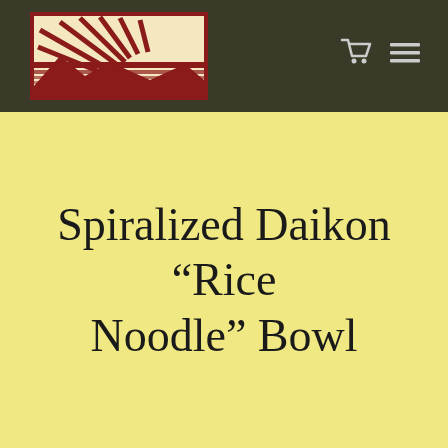[Figure (logo): Woodcut-style logo with a red background showing a landscape scene with a rising sun and agricultural fields, in cream and dark red colors]
[Figure (other): Navigation icons: shopping cart and hamburger menu in white/light gray on dark olive background]
Spiralized Daikon “Rice Noodle” Bowl